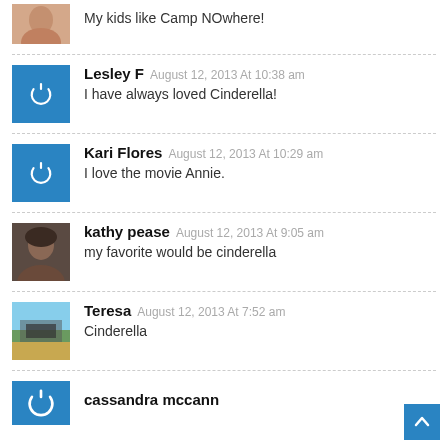My kids like Camp NOwhere!
Lesley F  August 12, 2013 At 10:38 am
I have always loved Cinderella!
Kari Flores  August 12, 2013 At 10:29 am
I love the movie Annie.
kathy pease  August 12, 2013 At 9:05 am
my favorite would be cinderella
Teresa  August 12, 2013 At 7:52 am
Cinderella
cassandra mccann